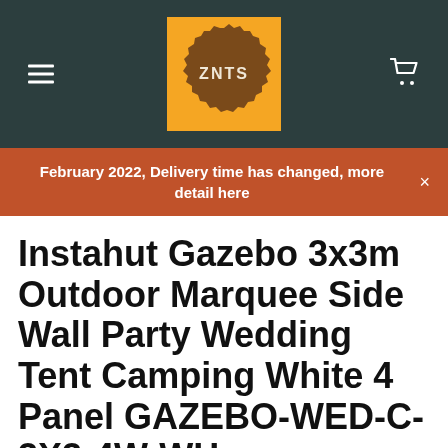ZNTS
February 2022, Delivery time has changed, more detail here
Instahut Gazebo 3x3m Outdoor Marquee Side Wall Party Wedding Tent Camping White 4 Panel GAZEBO-WED-C-3X3-4W-WH